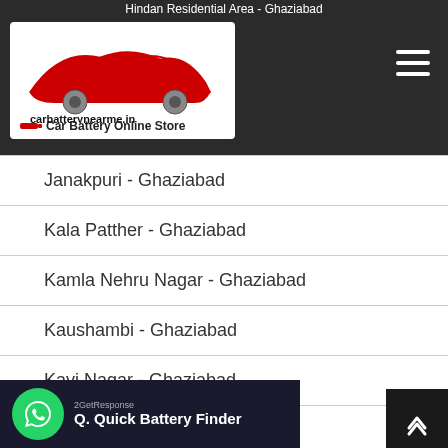Hindan Residential Area - Ghaziabad
[Figure (logo): carbatterynearme.in Car Battery Online Store logo with red car silhouette]
Janakpuri - Ghaziabad
Kala Patther - Ghaziabad
Kamla Nehru Nagar - Ghaziabad
Kaushambi - Ghaziabad
Kavi Nagar - Ghaziabad
Krishna Vihar - Ghaziabad
Quick Battery Finder